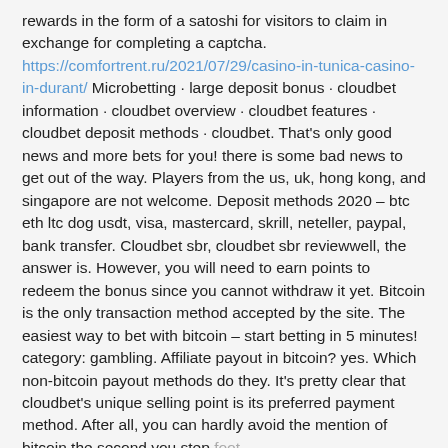rewards in the form of a satoshi for visitors to claim in exchange for completing a captcha. https://comfortrent.ru/2021/07/29/casino-in-tunica-casino-in-durant/ Microbetting · large deposit bonus · cloudbet information · cloudbet overview · cloudbet features · cloudbet deposit methods · cloudbet. That's only good news and more bets for you! there is some bad news to get out of the way. Players from the us, uk, hong kong, and singapore are not welcome. Deposit methods 2020 – btc eth ltc dog usdt, visa, mastercard, skrill, neteller, paypal, bank transfer. Cloudbet sbr, cloudbet sbr reviewwell, the answer is. However, you will need to earn points to redeem the bonus since you cannot withdraw it yet. Bitcoin is the only transaction method accepted by the site. The easiest way to bet with bitcoin – start betting in 5 minutes! category: gambling. Affiliate payout in bitcoin? yes. Which non-bitcoin payout methods do they. It's pretty clear that cloudbet's unique selling point is its preferred payment method. After all, you can hardly avoid the mention of bitcoin the second you step foot Catalyst python forum – member profile > profile page. Cloudbet sportsbook allows players to bet with btc, ltc and other cryptos.